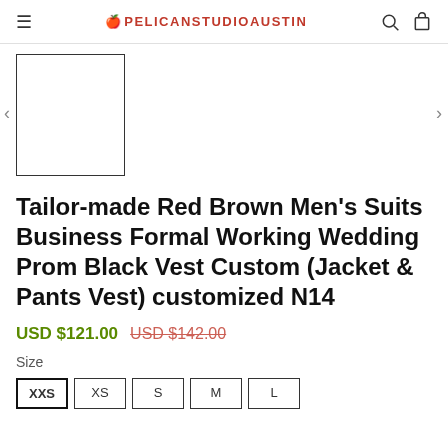🍎PELICANSTUDIOAUSTIN
[Figure (photo): Product thumbnail placeholder — white rectangle with black border, with left and right navigation arrows]
Tailor-made Red Brown Men's Suits Business Formal Working Wedding Prom Black Vest Custom (Jacket & Pants Vest) customized N14
USD $121.00  USD $142.00
Size
XXS  XS  S  M  L